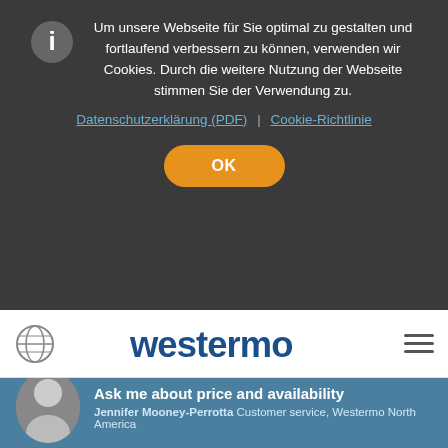Um unsere Webseite für Sie optimal zu gestalten und fortlaufend verbessern zu können, verwenden wir Cookies. Durch die weitere Nutzung der Webseite stimmen Sie der Verwendung zu.
Datenschutzerklärung (PDF) | Cookie-Richtlinie
OK
[Figure (logo): Westermo logo in blue bold text]
Energie
Öl und Gas
Maritime und Offshore
Wasser und Abwasser
SOFTWARE UND LÖSUNGEN
OS Betriebssystem
Ask me about price and availability
Jennifer Mooney-Perrotta Customer service, Westermo North America